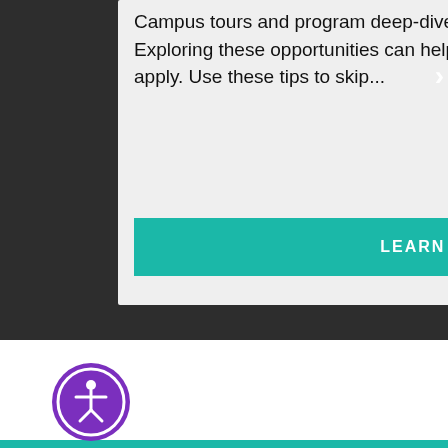Campus tours and program deep-dives are now more accessible than ever. Exploring these opportunities can help inform your decision to visit in person or apply. Use these tips to skip...
[Figure (screenshot): A teal 'LEARN MORE' button on a light gray card background]
[Figure (logo): Purple circular accessibility icon (Pageassist / web accessibility widget button) with a human figure silhouette]